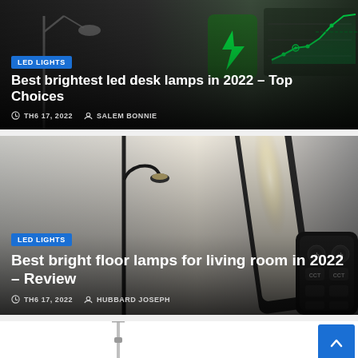[Figure (photo): Article card with dark background showing a desk lamp and stock chart elements. Blue LED LIGHTS badge, title 'Best brightest led desk lamps in 2022 – Top Choices', date TH6 17, 2022, author SALEM BONNIE.]
[Figure (photo): Article card with photo of floor lamp and remote control on gray background. Blue LED LIGHTS badge, title 'Best bright floor lamps for living room in 2022 – Review', date TH6 17, 2022, author HUBBARD JOSEPH.]
[Figure (photo): Partial article card at bottom showing a tall floor lamp on white background.]